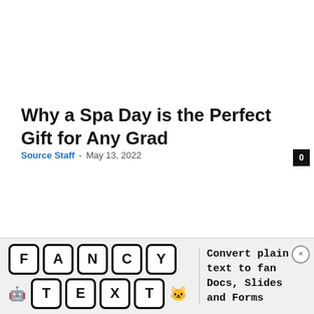Why a Spa Day is the Perfect Gift for Any Grad
Source Staff · May 13, 2022
[Figure (screenshot): Advertisement banner for 'Fancy Text' tool showing letter tiles spelling FANCY TEXT with emojis, and text 'Convert plain text to fancy text for Docs, Slides and Forms']